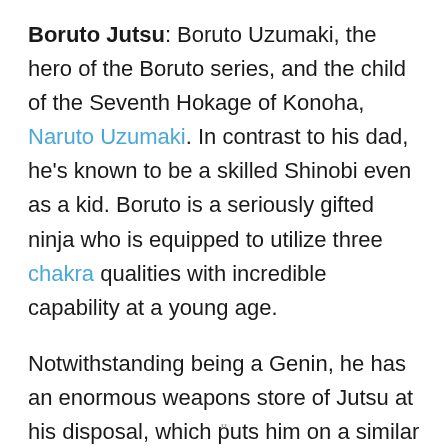Boruto Jutsu: Boruto Uzumaki, the hero of the Boruto series, and the child of the Seventh Hokage of Konoha, Naruto Uzumaki. In contrast to his dad, he's known to be a skilled Shinobi even as a kid. Boruto is a seriously gifted ninja who is equipped to utilize three chakra qualities with incredible capability at a young age.
Notwithstanding being a Genin, he has an enormous weapons store of Jutsu at his disposal, which puts him on a similar level as